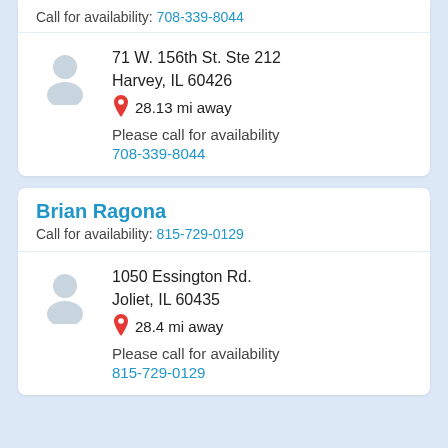Call for availability: 708-339-8044
71 W. 156th St. Ste 212
Harvey, IL 60426
28.13 mi away
Please call for availability
708-339-8044
Brian Ragona
Call for availability: 815-729-0129
1050 Essington Rd.
Joliet, IL 60435
28.4 mi away
Please call for availability
815-729-0129